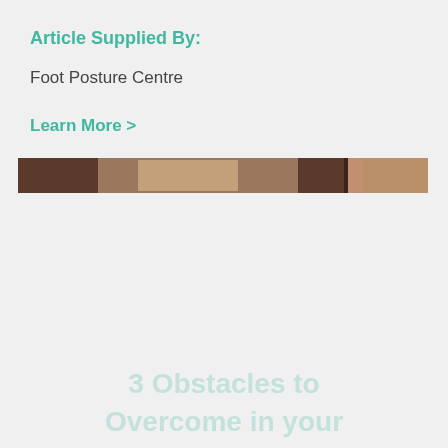Article Supplied By:
Foot Posture Centre
Learn More >
[Figure (photo): A horizontal strip showing a partial photograph, appearing to be a close-up of a foot or body part with brown tones on a light background, split into two sections.]
3 Obstacles to Overcome in your Meditation Practice